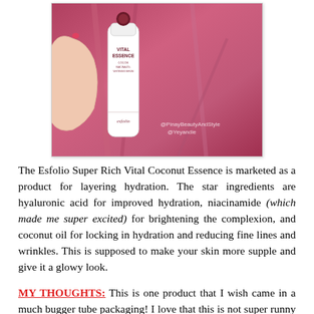[Figure (photo): A hand holding a white tube of Esfolio Vital Essence Coconut product against a pink/magenta textured background. Watermark text reads @PinayBeautyAndStyle @Yeyandie.]
The Esfolio Super Rich Vital Coconut Essence is marketed as a product for layering hydration. The star ingredients are hyaluronic acid for improved hydration, niacinamide (which made me super excited) for brightening the complexion, and coconut oil for locking in hydration and reducing fine lines and wrinkles. This is supposed to make your skin more supple and give it a glowy look.
MY THOUGHTS: This is one product that I wish came in a much bugger tube packaging! I love that this is not super runny so application is easier to control (and good packaging, of course) and that I can carry this around for